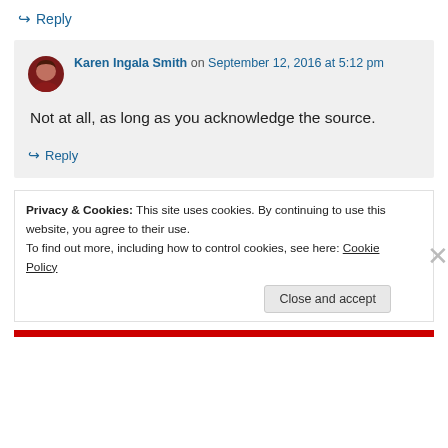↳ Reply
Karen Ingala Smith on September 12, 2016 at 5:12 pm
Not at all, as long as you acknowledge the source.
↳ Reply
Privacy & Cookies: This site uses cookies. By continuing to use this website, you agree to their use. To find out more, including how to control cookies, see here: Cookie Policy
Close and accept